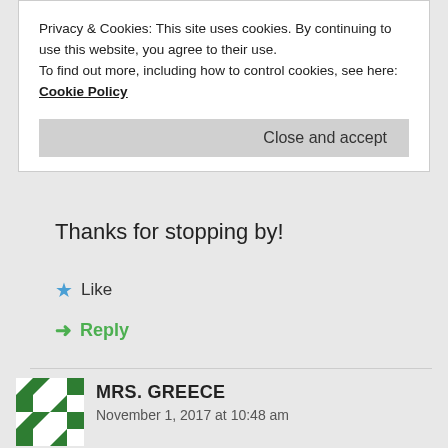Privacy & Cookies: This site uses cookies. By continuing to use this website, you agree to their use. To find out more, including how to control cookies, see here: Cookie Policy
Close and accept
Thanks for stopping by!
Like
Reply
MRS. GREECE
November 1, 2017 at 10:48 am
I like this post a lot. I'll have to reread again sometime. In addition, it has a reminder to visit GCC's website :-).